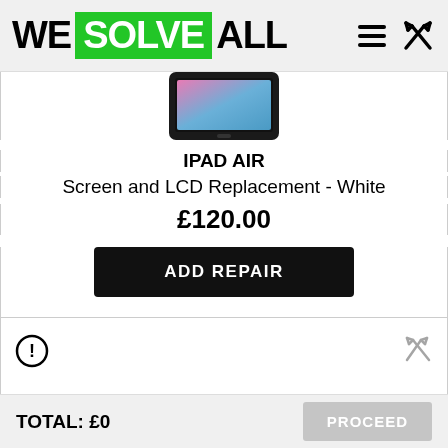WE SOLVE ALL
[Figure (photo): iPad Air tablet device shown from the front with colorful display screen visible]
IPAD AIR
Screen and LCD Replacement - White
£120.00
ADD REPAIR
[Figure (other): Warning/info circle icon on left, close/tools icon on right]
TOTAL: £0   PROCEED